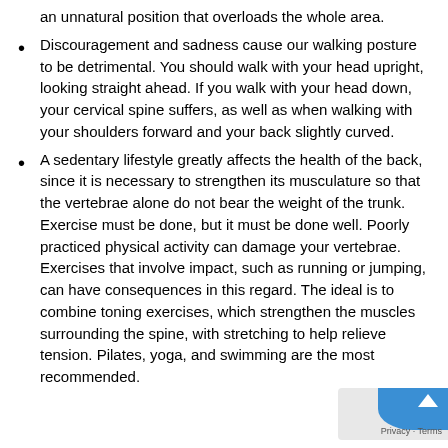an unnatural position that overloads the whole area.
Discouragement and sadness cause our walking posture to be detrimental. You should walk with your head upright, looking straight ahead. If you walk with your head down, your cervical spine suffers, as well as when walking with your shoulders forward and your back slightly curved.
A sedentary lifestyle greatly affects the health of the back, since it is necessary to strengthen its musculature so that the vertebrae alone do not bear the weight of the trunk. Exercise must be done, but it must be done well. Poorly practiced physical activity can damage your vertebrae. Exercises that involve impact, such as running or jumping, can have consequences in this regard. The ideal is to combine toning exercises, which strengthen the muscles surrounding the spine, with stretching to help relieve tension. Pilates, yoga, and swimming are the most recommended.